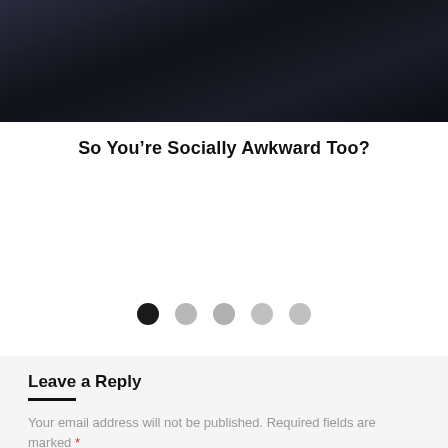[Figure (photo): Dark moody photo strip at top of page, showing a dim background scene]
So You’re Socially Awkward Too?
[Figure (other): Pagination dots: five circles, first one filled black, remaining four in light grey]
Leave a Reply
Your email address will not be published. Required fields are marked *